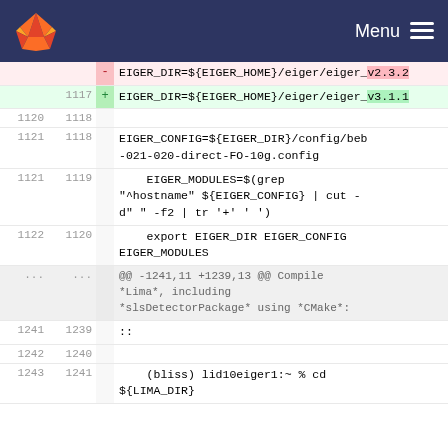GitLab Menu
[Figure (screenshot): GitLab diff view showing code changes. Deleted line: EIGER_DIR=${EIGER_HOME}/eiger/eiger_v2.3.2. Added line (1117): EIGER_DIR=${EIGER_HOME}/eiger/eiger_v3.1.1. Context lines 1118-1120: EIGER_CONFIG=${EIGER_DIR}/config/beb-021-020-direct-FO-10g.config. Line 1119/1121: EIGER_MODULES=$(grep "^hostname" ${EIGER_CONFIG} | cut -d" " -f2 | tr '+' ' '). Line 1120/1122: export EIGER_DIR EIGER_CONFIG EIGER_MODULES. Meta line: @@ -1241,11 +1239,13 @@ Compile *Lima*, including *slsDetectorPackage* using *CMake*:. Lines 1241/1239: ::, 1242/1240: (blank), 1243/1241: (bliss) lid10eiger1:~ % cd ${LIMA_DIR}]